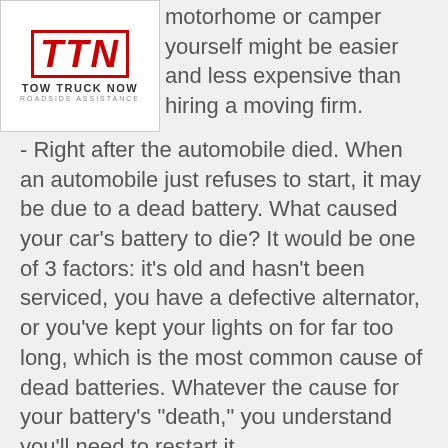[Figure (logo): TTN Tow Truck Now Roadside Assistance logo — red bold italic TTN letters in a red border box, with 'TOW TRUCK NOW' and 'ROADSIDE ASSISTANCE' text below]
motorhome or camper yourself might be easier and less expensive than hiring a moving firm.
- Right after the automobile died. When an automobile just refuses to start, it may be due to a dead battery. What caused your car's battery to die? It would be one of 3 factors: it's old and hasn't been serviced, you have a defective alternator, or you've kept your lights on for far too long, which is the most common cause of dead batteries. Whatever the cause for your battery's "death," you understand you'll need to restart it.
Breaking down is not something anybody chooses, and no one picks